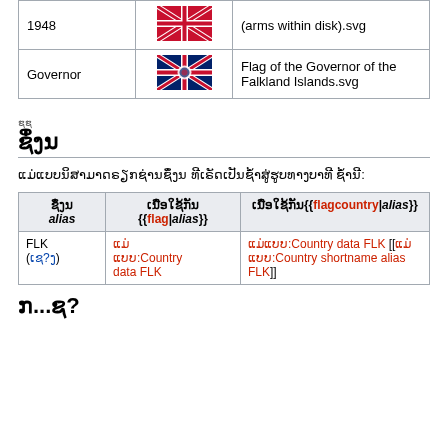|  |  |  |
| --- | --- | --- |
| 1948 | [flag image] | (arms within disk).svg |
| Governor | [UK flag image] | Flag of the Governor of the Falkland Islands.svg |
ຊຶ່ງນ
ຊຶ່ງນ
ແມ່ແບບນິສາມາດຣຽກຊ່ານຊຶ່ງນ ທີເຣັດເປັນຊ້ໍາສູ່ຮູບທາງບາທີ ຊໍ້ານີ:
| ຊຶ່ງນ alias | ເນື່ອໃຊ້ກັນ {{flag|alias}} | ເນື່ອໃຊ້ກັນ{{flagcountry|alias}} |
| --- | --- | --- |
| FLK (ເຊ?ງ) | ແມ່ ແບບ:Country data FLK | ແມ່ແບບ:Country data FLK [[ແມ່ ແບບ:Country shortname alias FLK]] |
ກ...ຊ?